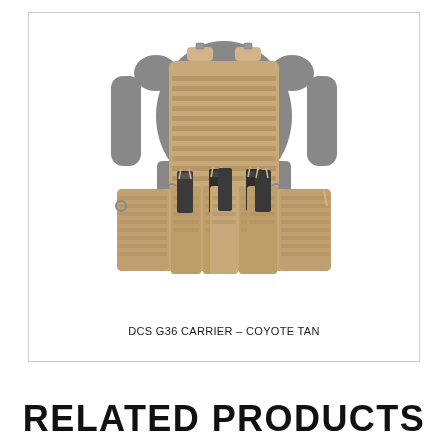[Figure (photo): A tactical chest rig carrier (DCS G36 Carrier) in coyote tan color, shown front-facing on a gray mannequin torso silhouette. The rig features multiple MOLLE pouches along the bottom, with five magazine pouches in the center (holding dark magazines), and two larger side pouches. The carrier has shoulder straps and a MOLLE panel on the front plate area.]
DCS G36 CARRIER – COYOTE TAN
RELATED PRODUCTS